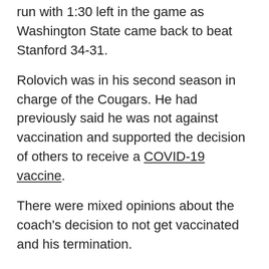run with 1:30 left in the game as Washington State came back to beat Stanford 34-31.
Rolovich was in his second season in charge of the Cougars. He had previously said he was not against vaccination and supported the decision of others to receive a COVID-19 vaccine.
There were mixed opinions about the coach's decision to not get vaccinated and his termination.
"You know as a parent, you set out expectations for behavior and you set consequences when that behavior isn't met. As adults we all live that in our working world and that seems to be the situation here," said Randy Hermans of Magnolia.
"A strong belief is a strong belief, and if you feel that's